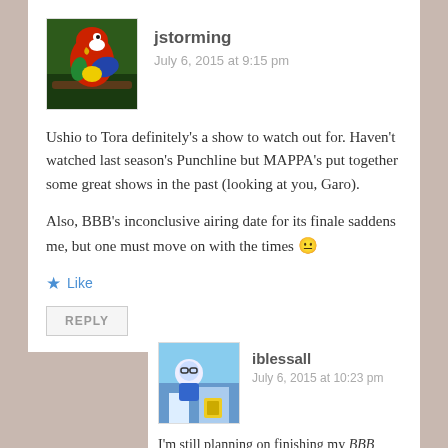[Figure (photo): Avatar image of a red macaw parrot on a branch]
jstorming
July 6, 2015 at 9:15 pm
Ushio to Tora definitely's a show to watch out for. Haven't watched last season's Punchline but MAPPA's put together some great shows in the past (looking at you, Garo).
Also, BBB's inconclusive airing date for its finale saddens me, but one must move on with the times 😐
★ Like
REPLY
[Figure (illustration): Avatar image of iblessall with anime-style illustration]
iblessall
July 6, 2015 at 10:23 pm
I'm still planning on finishing my BBB cinematography posts, even if I'm so late with them